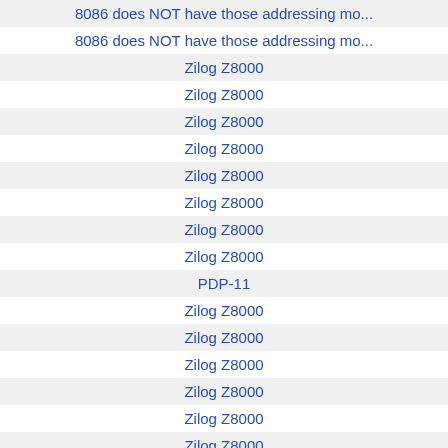| 8086 does NOT have those addressing modes |
| 8086 does NOT have those addressing mo... |
| Zilog Z8000 |
| Zilog Z8000 |
| Zilog Z8000 |
| Zilog Z8000 |
| Zilog Z8000 |
| Zilog Z8000 |
| Zilog Z8000 |
| Zilog Z8000 |
| PDP-11 |
| Zilog Z8000 |
| Zilog Z8000 |
| Zilog Z8000 |
| Zilog Z8000 |
| Zilog Z8000 |
| Zilog Z8000 |
| It's hard to separate |
| It's hard to separate |
| It's hard to separate |
| It's hard to separate |
| It's hard to separate |
| It's hard to separate |